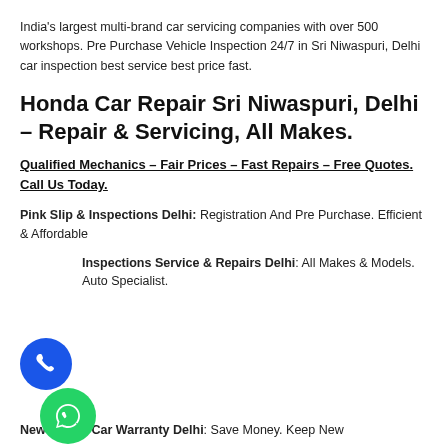India's largest multi-brand car servicing companies with over 500 workshops. Pre Purchase Vehicle Inspection 24/7 in Sri Niwaspuri, Delhi car inspection best service best price fast.
Honda Car Repair Sri Niwaspuri, Delhi – Repair & Servicing, All Makes.
Qualified Mechanics – Fair Prices – Fast Repairs – Free Quotes. Call Us Today.
Pink Slip & Inspections Delhi: Registration And Pre Purchase. Efficient & Affordable
Inspections Service & Repairs Delhi: All Makes & Models. Auto Specialist.
[Figure (illustration): Blue circular phone call button icon]
[Figure (illustration): Green circular WhatsApp icon button]
New Honda Car Warranty Delhi: Save Money. Keep New